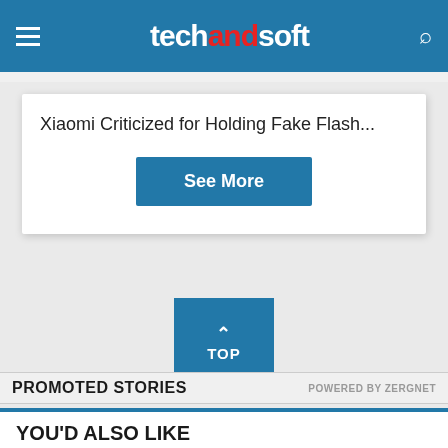techandsoft
Xiaomi Criticized for Holding Fake Flash...
See More
TOP
PROMOTED STORIES
POWERED BY ZERGNET
YOU'D ALSO LIKE